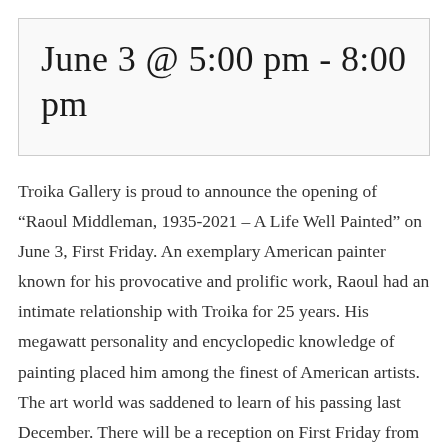June 3 @ 5:00 pm - 8:00 pm
Troika Gallery is proud to announce the opening of “Raoul Middleman, 1935-2021 – A Life Well Painted” on June 3, First Friday. An exemplary American painter known for his provocative and prolific work, Raoul had an intimate relationship with Troika for 25 years. His megawatt personality and encyclopedic knowledge of painting placed him among the finest of American artists. The art world was saddened to learn of his passing last December. There will be a reception on First Friday from 5 to 8 p.m. where several members of Raoul’s family will be attending.
Raoul was instrumental in the early days of Troika